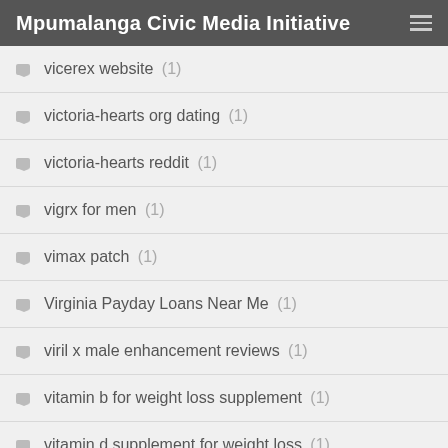Mpumalanga Civic Media Initiative
vicerex website (1)
victoria-hearts org dating (1)
victoria-hearts reddit (1)
vigrx for men (1)
vimax patch (1)
Virginia Payday Loans Near Me (1)
viril x male enhancement reviews (1)
vitamin b for weight loss supplement (1)
vitamin d supplement for weight loss (1)